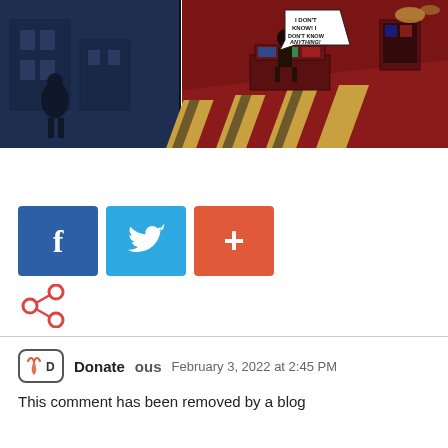[Figure (illustration): Comic book panel split into two parts: left side shows a blue-toned figure in shadow against a building; right side shows a red-toned action scene with a character at a console and a speech bubble reading 'I DON'T KNOW! I DON'T KNOW ANYTHING!']
[Figure (infographic): Social sharing buttons: Facebook (blue square with 'f'), Twitter (light blue square with bird icon), and a red/orange square with '+' symbol]
[Figure (infographic): Small share icon (three connected circles forming a share symbol) in orange/red color]
Donate  US  February 3, 2022 at 2:45 PM
This comment has been removed by a blog